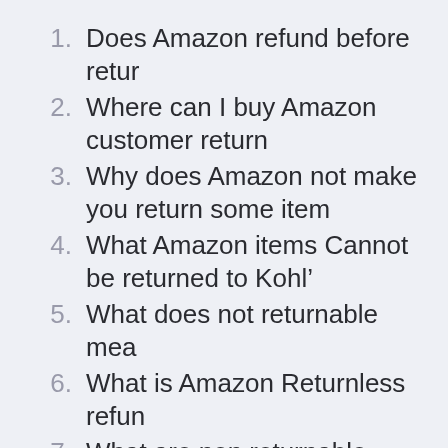1. Does Amazon refund before retur
2. Where can I buy Amazon customer return
3. Why does Amazon not make you return some item
4. What Amazon items Cannot be returned to Kohl’
5. What does not returnable mea
6. What is Amazon Returnless refun
7. What are non returnable items in Amazo
8. Are all items refundable on Amazo